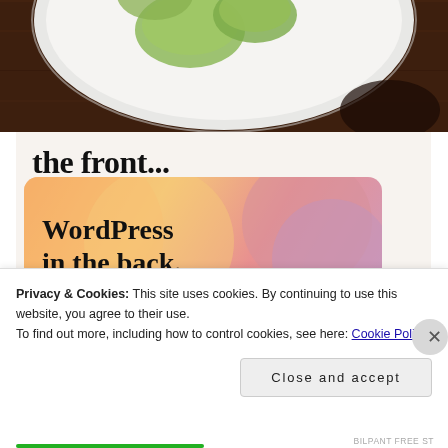[Figure (photo): Photo of a white plate with food (appears to be lettuce/cabbage wraps or dumplings) on a dark wooden table, viewed from above, cropped showing partial plate.]
[Figure (screenshot): WordPress promotional banner showing text 'the front...' above and 'WordPress in the back.' inside a colorful gradient card with orange, peach, and pink blob shapes.]
Privacy & Cookies: This site uses cookies. By continuing to use this website, you agree to their use.
To find out more, including how to control cookies, see here: Cookie Policy
Close and accept